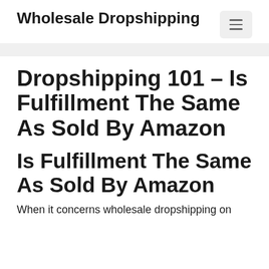Wholesale Dropshipping
Dropshipping 101 – Is Fulfillment The Same As Sold By Amazon
Is Fulfillment The Same As Sold By Amazon
When it concerns wholesale dropshipping on